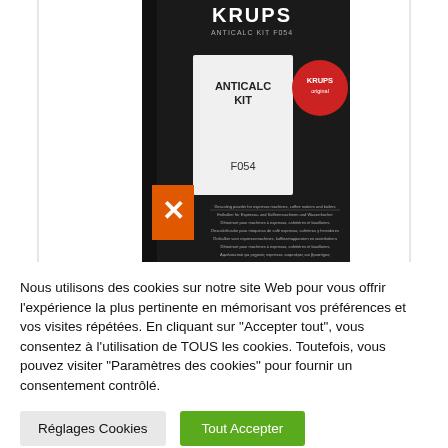[Figure (photo): Product photo of Krups Anticalc Kit F054 box on white background. The box is black with white and orange branding, showing 'KRUPS ANTICALC KIT F054' on front, a white label panel reading 'ANTICALC KIT' and 'F054', a red Krups circular logo, an orange hazard symbol (X), and multilingual text descriptions on the side.]
Nous utilisons des cookies sur notre site Web pour vous offrir l'expérience la plus pertinente en mémorisant vos préférences et vos visites répétées. En cliquant sur "Accepter tout", vous consentez à l'utilisation de TOUS les cookies. Toutefois, vous pouvez visiter "Paramètres des cookies" pour fournir un consentement contrôlé.